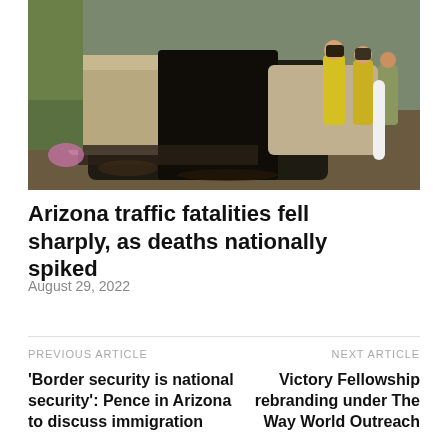[Figure (photo): A severely wrecked vehicle at a crash scene with firefighters in yellow high-visibility vests working at the scene]
Arizona traffic fatalities fell sharply, as deaths nationally spiked
August 29, 2022
PREVIOUS ARTICLE
‘Border security is national security’: Pence in Arizona to discuss immigration
NEXT ARTICLE
Victory Fellowship rebranding under The Way World Outreach